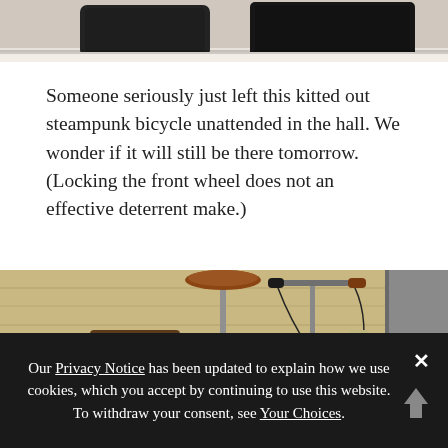[Figure (photo): Partial view of dark bags or luggage on a light floor, cropped at top]
Someone seriously just left this kitted out steampunk bicycle unattended in the hall. We wonder if it will still be there tomorrow. (Locking the front wheel does not an effective deterrent make.)
[Figure (photo): A steampunk-style bicycle with brown leather saddle, handlebars with grips, ornate trunk/luggage with stickers, leaning against a wooden wall]
Our Privacy Notice has been updated to explain how we use cookies, which you accept by continuing to use this website. To withdraw your consent, see Your Choices.